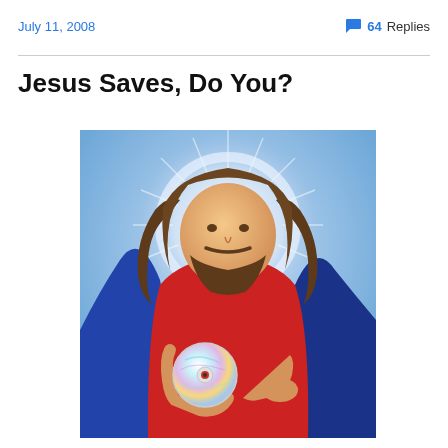July 11, 2008
💬 64 Replies
Jesus Saves, Do You?
[Figure (illustration): Cartoon illustration of Jesus holding a CD/DVD disc, wearing a red robe and blue cloak, with a glowing halo behind his head, against a light blue background.]